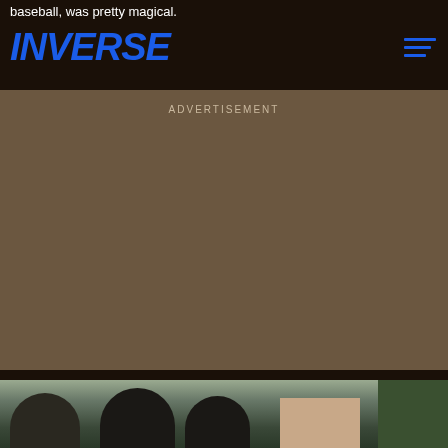baseball, was pretty magical.
[Figure (logo): INVERSE logo in bold blue italic text]
ADVERTISEMENT
[Figure (photo): Group of people wearing baseball caps outdoors, with rooftops and trees visible in the background]